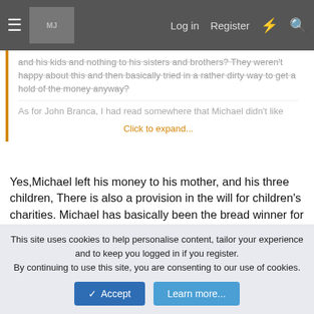Log in  Register
and his kids and nothing to his sisters and brothers? They weren't happy about this and then basically tried in a rather dirty way to get a hold of the money anyway?
Click to expand...
Yes,Michael left his money to his mother, and his three children, There is also a provision in the will for children's charities. Michael has basically been the bread winner for that entire family, except Janet. He is the one who they turned to when they needed money. That is the reason they badgered him to tour. They needed the money. Michael is the one who paid for every niece and nephew's education who attended college. Michael is the one who paid his brothers child support payments to their ex wives, when they wouldn't pay them. Margaret Malganado said in her book, NO ONE ELSE IN THE FAMILY
This site uses cookies to help personalise content, tailor your experience and to keep you logged in if you register.
By continuing to use this site, you are consenting to our use of cookies.